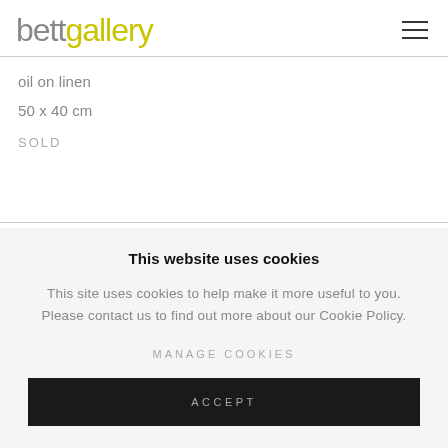bettgallery
oil on linen
50 x 40 cm
SOLD
This website uses cookies
This site uses cookies to help make it more useful to you. Please contact us to find out more about our Cookie Policy.
MANAGE COOKIES
ACCEPT